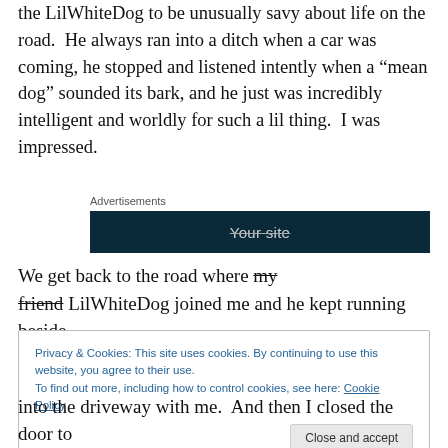the LilWhiteDog to be unusually savy about life on the road.  He always ran into a ditch when a car was coming, he stopped and listened intently when a “mean dog” sounded its bark, and he just was incredibly intelligent and worldly for such a lil thing.  I was impressed.
[Figure (other): Advertisements banner with dark navy background and strikethrough 'Your site' text]
We get back to the road where my friend LilWhiteDog joined me and he kept running beside
Privacy & Cookies: This site uses cookies. By continuing to use this website, you agree to their use.
To find out more, including how to control cookies, see here: Cookie Policy
into the driveway with me.  And then I closed the door to